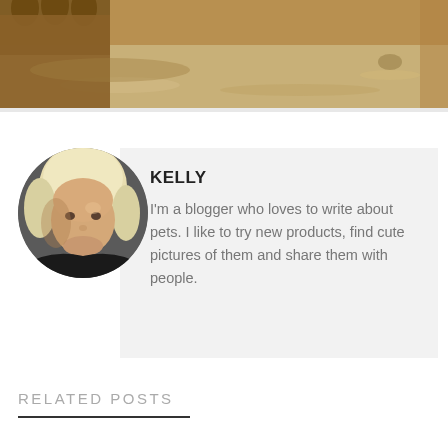[Figure (photo): Top strip photo showing close-up of an animal (likely a big cat) paws/feet on sandy/dirt ground, warm brown tones]
[Figure (photo): Circular avatar portrait of a blonde woman named Kelly, wearing a dark jacket, looking at camera]
KELLY
I'm a blogger who loves to write about pets. I like to try new products, find cute pictures of them and share them with people.
RELATED POSTS